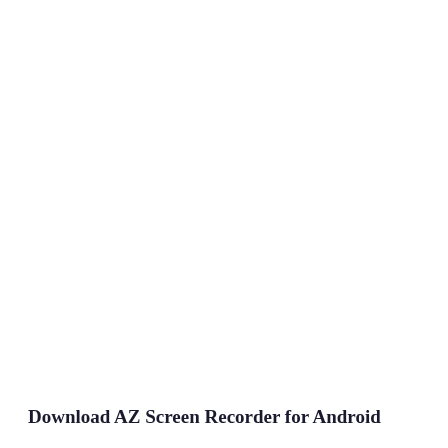Download AZ Screen Recorder for Android